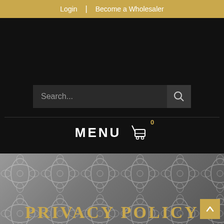Login | Become a Wholesaler
[Figure (screenshot): Search bar with placeholder text 'Search...' and a search icon button on a dark background]
MENU
[Figure (illustration): Gray textured background with damask floral pattern, a gold back-to-top arrow button, and 'PRIVACY POLICY' title text in gold at the bottom]